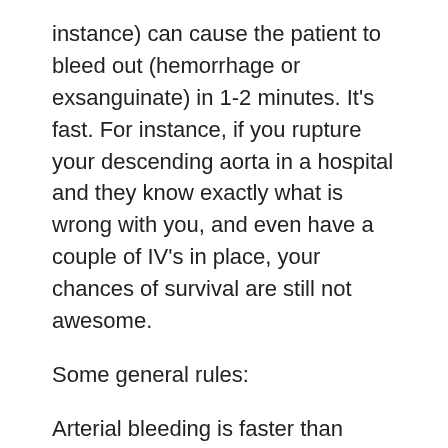instance) can cause the patient to bleed out (hemorrhage or exsanguinate) in 1-2 minutes. It's fast. For instance, if you rupture your descending aorta in a hospital and they know exactly what is wrong with you, and even have a couple of IV's in place, your chances of survival are still not awesome.
Some general rules:
Arterial bleeding is faster than venous bleeding. This is because the pumping action of the heart causes more brisk blood loss. That being said, all bleeding can lead to death if not controlled. It's probably safe to assume that bleeding from an artery without any intervention could lead to unconsciousness in one to three minutes and death in under five minutes.
Uncontrolled venous bleeding might take upwards of twenty minutes or days. Again, if not controlled in